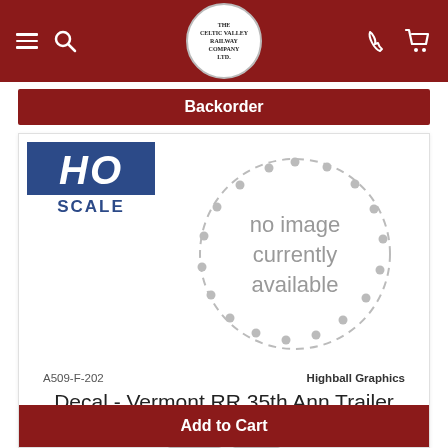Celtic Valley Railway — navigation header with logo, menu, search, phone, cart
Backorder
[Figure (illustration): HO Scale badge — dark blue rectangle with 'HO' in large white italic letters and 'SCALE' in dark blue on white below]
[Figure (illustration): No image currently available — circular dashed border stamp graphic with grey text reading 'no image currently available']
A509-F-202
Highball Graphics
Decal - Vermont RR 35th Ann Trailer
Decal   VTR
🍁 $11.95
In Stock
Add to Cart